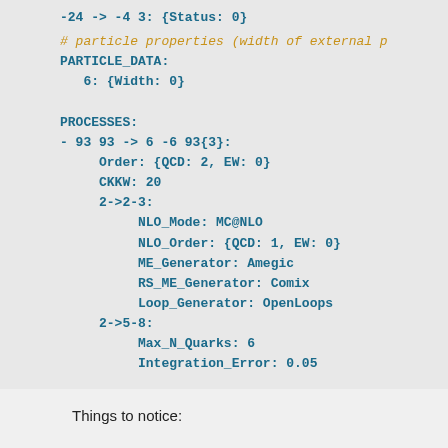-24 -> -4 3: {Status: 0}
# particle properties (width of external p
PARTICLE_DATA:
  6: {Width: 0}

PROCESSES:
- 93 93 -> 6 -6 93{3}:
    Order: {QCD: 2, EW: 0}
    CKKW: 20
    2->2-3:
        NLO_Mode: MC@NLO
        NLO_Order: {QCD: 1, EW: 0}
        ME_Generator: Amegic
        RS_ME_Generator: Comix
        Loop_Generator: OpenLoops
    2->5-8:
        Max_N_Quarks: 6
        Integration_Error: 0.05
Things to notice: